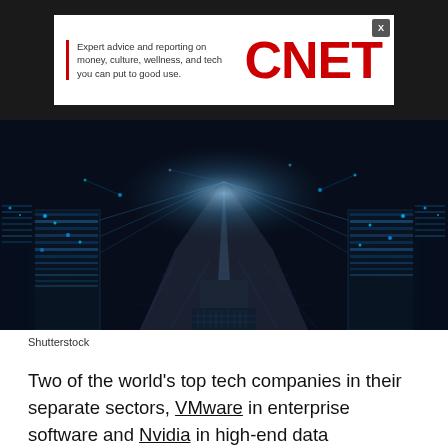[Figure (logo): CNET advertisement banner with red vertical bar, tagline text and bold red CNET logo on white background against dark background]
[Figure (photo): Data center corridor with rows of server racks illuminated in blue light, perspective shot down the aisle with glowing connection lines]
Shutterstock
Two of the world's top tech companies in their separate sectors, VMware in enterprise software and Nvidia in high-end data processing hardware, are joining their collective talents with the idea of